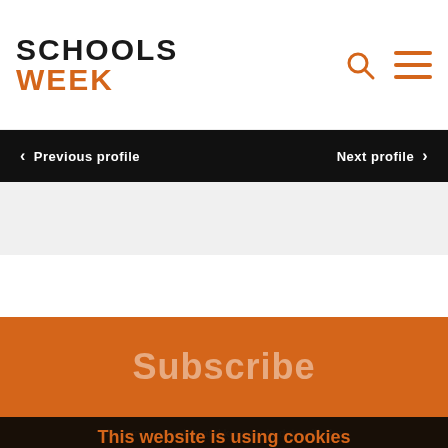[Figure (logo): Schools Week logo with SCHOOLS in black bold and WEEK in orange bold]
Previous profile | Next profile
Subscribe
This website is using cookies
We use cookies to ensure that we give you the best experience on our website. If you continue without changing your settings, we'll assume that you are happy to receive all cookies on this website.
Accept | Learn More
[Figure (screenshot): NPQ 2022 applications now open - funded - apply now advertisement banner at the bottom of the page]